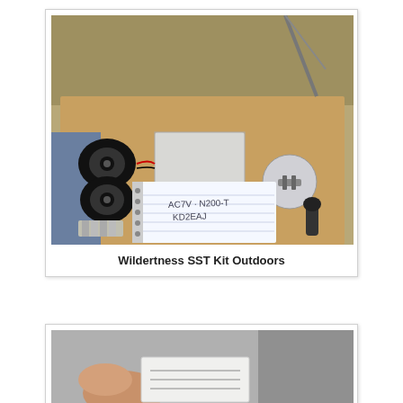[Figure (photo): Outdoor photo of Wildertness SST Kit with radio equipment, speakers, morse code key, spiral notebook with handwritten callsigns, and antenna, laid out on a cardboard surface on the ground.]
Wildertness SST Kit Outdoors
[Figure (photo): Partial photo at bottom of page showing hands and a card with text, cut off.]